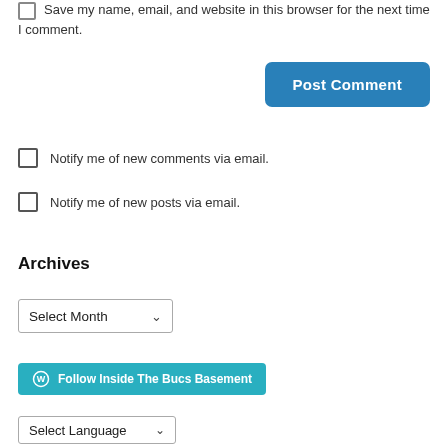Save my name, email, and website in this browser for the next time I comment.
Post Comment
Notify me of new comments via email.
Notify me of new posts via email.
Archives
Select Month
Follow Inside The Bucs Basement
Select Language